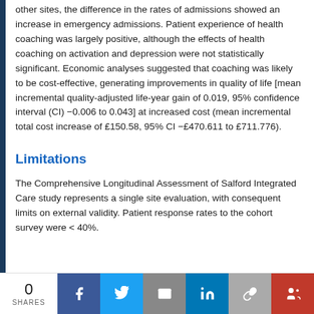other sites, the difference in the rates of admissions showed an increase in emergency admissions. Patient experience of health coaching was largely positive, although the effects of health coaching on activation and depression were not statistically significant. Economic analyses suggested that coaching was likely to be cost-effective, generating improvements in quality of life [mean incremental quality-adjusted life-year gain of 0.019, 95% confidence interval (CI) −0.006 to 0.043] at increased cost (mean incremental total cost increase of £150.58, 95% CI −£470.611 to £711.776).
Limitations
The Comprehensive Longitudinal Assessment of Salford Integrated Care study represents a single site evaluation, with consequent limits on external validity. Patient response rates to the cohort survey were < 40%.
0 SHARES | Facebook | Twitter | Email | LinkedIn | Link | More